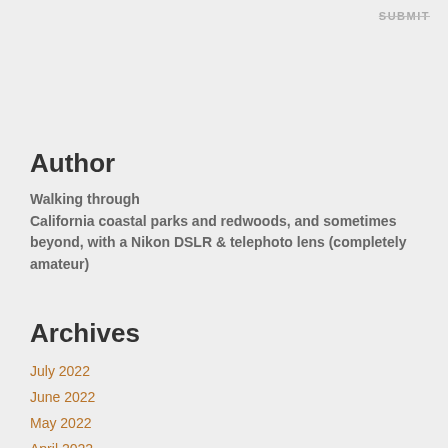SUBMIT
Author
Walking through California coastal parks and redwoods, and sometimes beyond, with a Nikon DSLR & telephoto lens (completely amateur)
Archives
July 2022
June 2022
May 2022
April 2022